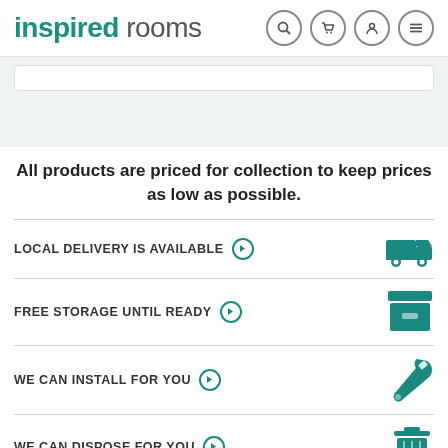inspired rooms
All products are priced for collection to keep prices as low as possible.
LOCAL DELIVERY IS AVAILABLE
FREE STORAGE UNTIL READY
WE CAN INSTALL FOR YOU
WE CAN DISPOSE FOR YOU